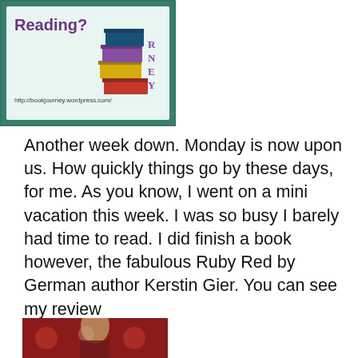[Figure (illustration): Book Journey blog banner showing stacked books and text 'Reading?' with URL http://bookjourney.wordpress.com/]
Another week down. Monday is now upon us. How quickly things go by these days, for me. As you know, I went on a mini vacation this week. I was so busy I barely had time to read. I did finish a book however, the fabulous Ruby Red by German author Kerstin Gier. You can see my review
Privacy & Cookies: This site uses cookies. By continuing to use this website, you agree to their use.
To find out more, including how to control cookies, see here: Cookie Policy
Close and accept
[Figure (photo): Partial photo visible at bottom of page, appears to show a decorative red background with a person]